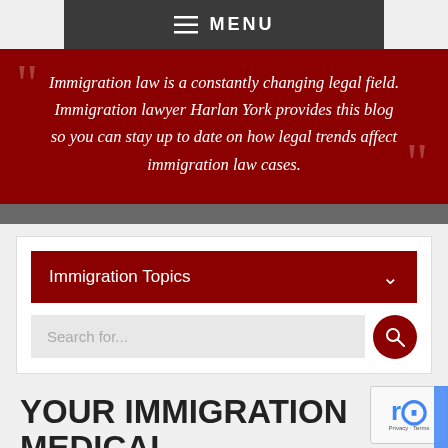MENU
Immigration law is a constantly changing legal field. Immigration lawyer Harlan York provides this blog so you can stay up to date on how legal trends affect immigration law cases.
Immigration Topics
Search for...
YOUR IMMIGRATION MEDICAL